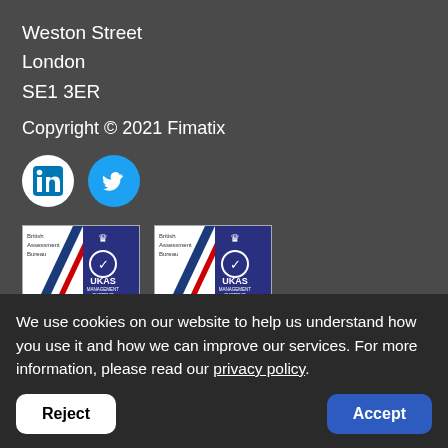Weston Street
London
SE1 3ER
Copyright © 2021 Fimatix
[Figure (logo): LinkedIn and Twitter social media icons — LinkedIn in white circle with blue 'in' logo, Twitter as blue circle with white bird icon]
[Figure (logo): Two UKAS Management Systems certification badges from British Assessment Bureau, numbered 8280]
We use cookies on our website to help us understand how you use it and how we can improve our services. For more information, please read our privacy policy.